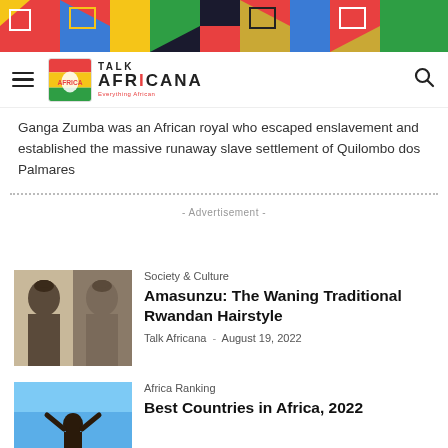[Figure (photo): Colorful African mural/painted wall strip at the top of the page]
[Figure (logo): Talk Africana logo with hamburger menu and search icon in navigation bar]
Ganga Zumba was an African royal who escaped enslavement and established the massive runaway slave settlement of Quilombo dos Palmares
- Advertisement -
Society & Culture
Amasunzu: The Waning Traditional Rwandan Hairstyle
Talk Africana - August 19, 2022
[Figure (photo): Black and white photo showing traditional Rwandan Amasunzu hairstyle]
Africa Ranking
Best Countries in Africa, 2022
[Figure (photo): Person with arms raised against blue sky background]